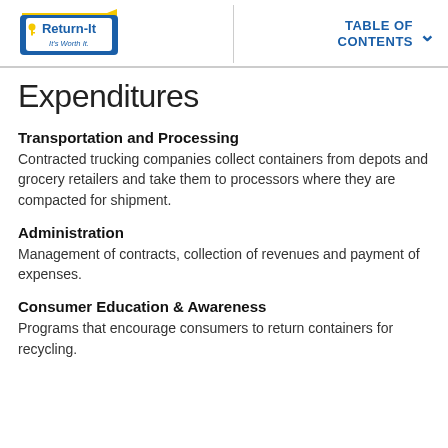Return-It — It's Worth It. | TABLE OF CONTENTS
Expenditures
Transportation and Processing
Contracted trucking companies collect containers from depots and grocery retailers and take them to processors where they are compacted for shipment.
Administration
Management of contracts, collection of revenues and payment of expenses.
Consumer Education & Awareness
Programs that encourage consumers to return containers for recycling.